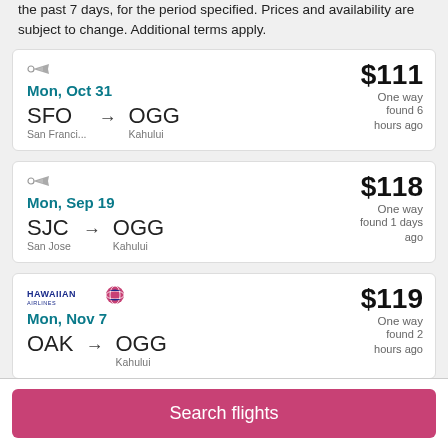the past 7 days, for the period specified. Prices and availability are subject to change. Additional terms apply.
Mon, Oct 31 | SFO (San Franci...) → OGG (Kahului) | $111 One way | found 6 hours ago
Mon, Sep 19 | SJC (San Jose) → OGG (Kahului) | $118 One way | found 1 days ago
Hawaiian Airlines | Mon, Nov 7 | OAK → OGG (Kahului) | $119 One way | found 2 hours ago
Search flights